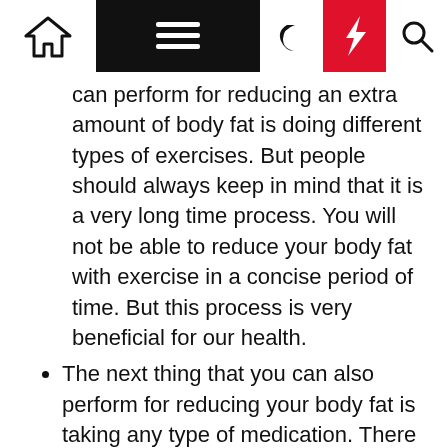[Navigation bar with home, menu, moon, bolt, search icons]
can perform for reducing an extra amount of body fat is doing different types of exercises. But people should always keep in mind that it is a very long time process. You will not be able to reduce your body fat with exercise in a concise period of time. But this process is very beneficial for our health.
The next thing that you can also perform for reducing your body fat is taking any type of medication. There are a lot of people in the whole world that prefer this service. This is because it is one of the easiest ways that are available for reducing body fat. But you should always keep in mind that it